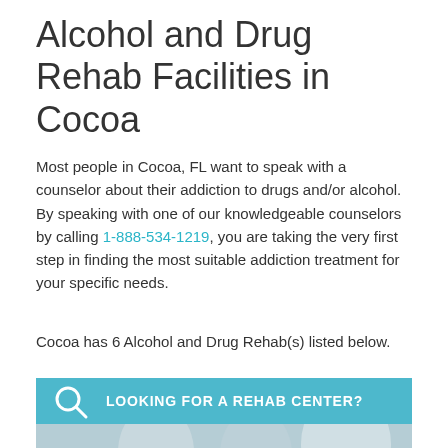Alcohol and Drug Rehab Facilities in Cocoa
Most people in Cocoa, FL want to speak with a counselor about their addiction to drugs and/or alcohol. By speaking with one of our knowledgeable counselors by calling 1-888-534-1219, you are taking the very first step in finding the most suitable addiction treatment for your specific needs.
Cocoa has 6 Alcohol and Drug Rehab(s) listed below.
[Figure (infographic): Teal banner with search/magnifying glass icon and bold white text reading LOOKING FOR A REHAB CENTER?]
[Figure (photo): Photo of call center counselors wearing headsets, including a smiling blonde woman in the foreground]